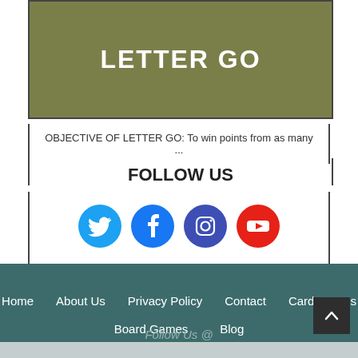[Figure (illustration): Olive/khaki colored banner with white bold uppercase text reading LETTER GO]
OBJECTIVE OF LETTER GO: To win points from as many ...
FOLLOW US
[Figure (illustration): Four social media icons: Twitter (blue), Facebook (blue), Instagram (purple/dark blue), YouTube (red)]
Home  About Us  Privacy Policy  Contact  Card Games  Board Games  Blog
Follow Us @